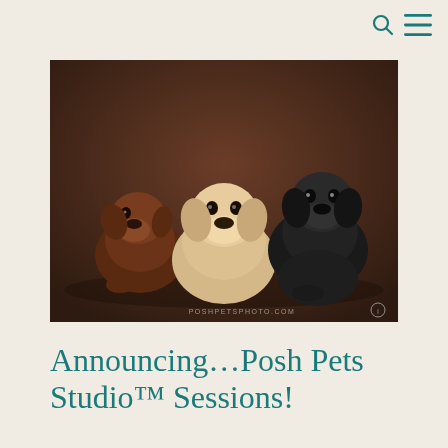[Figure (photo): Three Labrador Retriever puppies — a chocolate lab on the left, a yellow lab in the center, and a black lab on the right — posed together against a dark brown studio backdrop. Watermark reads POSHPETSPHOTO.COM]
Announcing…Posh Pets Studio™ Sessions!